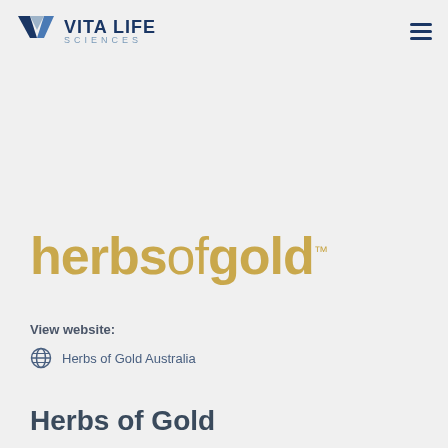VITA LIFE SCIENCES
[Figure (logo): Herbs of Gold logo in gold/tan color]
View website:
Herbs of Gold Australia
Herbs of Gold